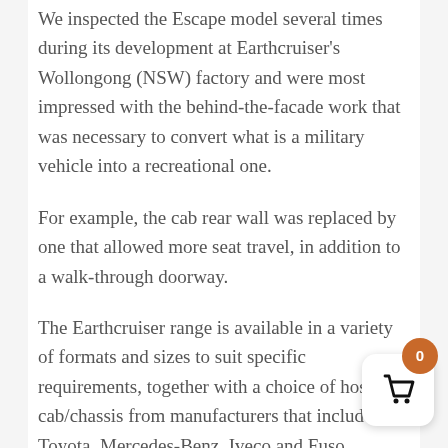We inspected the Escape model several times during its development at Earthcruiser's Wollongong (NSW) factory and were most impressed with the behind-the-facade work that was necessary to convert what is a military vehicle into a recreational one.
For example, the cab rear wall was replaced by one that allowed more seat travel, in addition to a walk-through doorway.
The Earthcruiser range is available in a variety of formats and sizes to suit specific requirements, together with a choice of host cab/chassis from manufacturers that include Toyota, Mercedes-Benz, Iveco and Fuso.